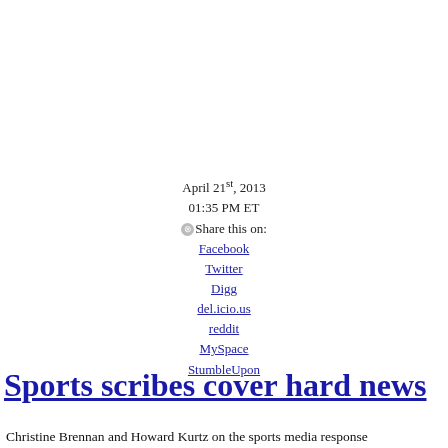April 21st, 2013
01:35 PM ET
⊗Share this on:
Facebook
Twitter
Digg
del.icio.us
reddit
MySpace
StumbleUpon
Sports scribes cover hard news
Christine Brennan and Howard Kurtz on the sports media response